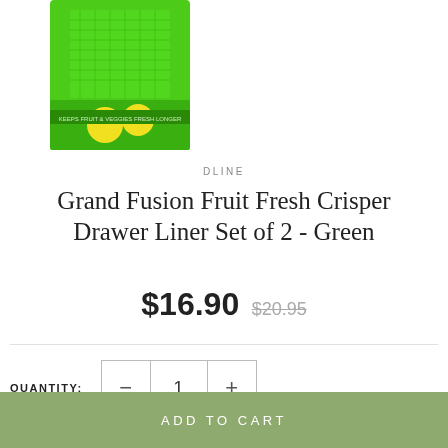[Figure (photo): Product image of Grand Fusion Fruit Fresh Crisper Drawer Liner in green packaging with fruit imagery]
DLINE
Grand Fusion Fruit Fresh Crisper Drawer Liner Set of 2 - Green
$16.90  $20.95
QUANTITY: 1
ADD TO CART